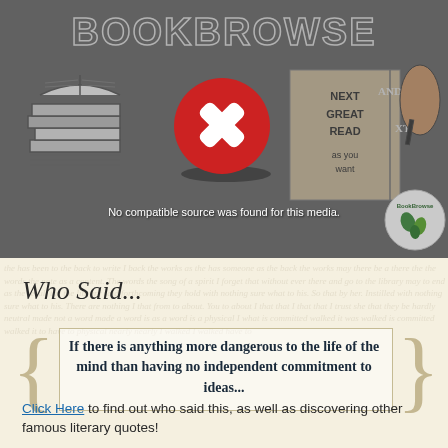[Figure (screenshot): Video player showing BookBrowse animated sketch video with error overlay: red circle with white X, and text 'No compatible source was found for this media.']
Who Said...
If there is anything more dangerous to the life of the mind than having no independent commitment to ideas...
Click Here to find out who said this, as well as discovering other famous literary quotes!